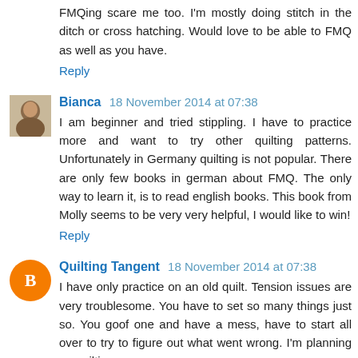FMQing scare me too. I'm mostly doing stitch in the ditch or cross hatching. Would love to be able to FMQ as well as you have.
Reply
Bianca 18 November 2014 at 07:38
I am beginner and tried stippling. I have to practice more and want to try other quilting patterns. Unfortunately in Germany quilting is not popular. There are only few books in german about FMQ. The only way to learn it, is to read english books. This book from Molly seems to be very very helpful, I would like to win!
Reply
Quilting Tangent 18 November 2014 at 07:38
I have only practice on an old quilt. Tension issues are very troublesome. You have to set so many things just so. You goof one and have a mess, have to start all over to try to figure out what went wrong. I'm planning on quilting a